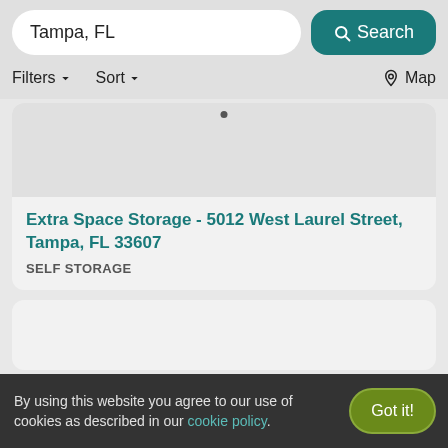Tampa, FL
Filters  Sort  Map
Extra Space Storage - 5012 West Laurel Street, Tampa, FL 33607
SELF STORAGE
By using this website you agree to our use of cookies as described in our cookie policy.